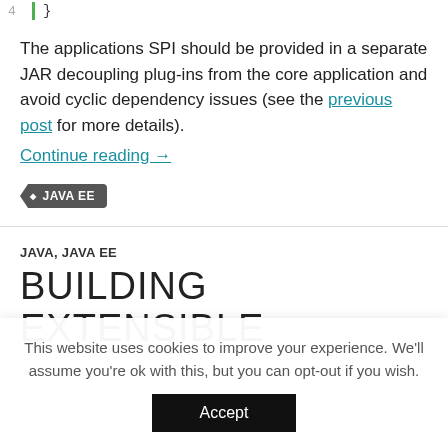4  }
The applications SPI should be provided in a separate JAR decoupling plug-ins from the core application and avoid cyclic dependency issues (see the previous post for more details). Continue reading →
• JAVA EE
JAVA, JAVA EE
BUILDING EXTENSIBLE
This website uses cookies to improve your experience. We'll assume you're ok with this, but you can opt-out if you wish.
Accept